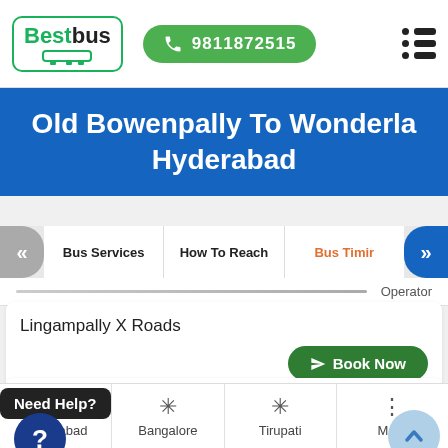[Figure (logo): BestBus logo with green bus icon and border]
9811872515
Old Bowenpally To Wonderla Hyderabad
Bus Services | How To Reach | Bus Timir
Operator
Lingampally X Roads
Book Now
Need Help?
anda Nagar
Book Now
Hyderabad
Bangalore
Tirupati
More